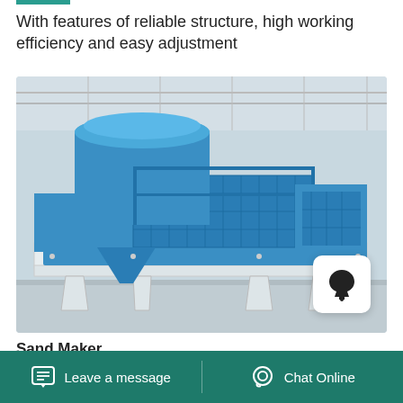With features of reliable structure, high working efficiency and easy adjustment
[Figure (photo): Large industrial blue sand maker machine on a white metal frame, photographed inside a factory/warehouse with metal roof structure visible in background. Machine has a large cylindrical blue top section, mesh-covered sides, and white structural legs.]
Sand Maker
Leave a message   Chat Online